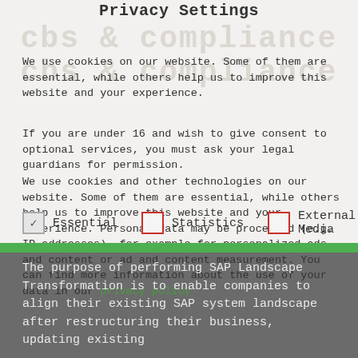Privacy Settings
We use cookies on our website. Some of them are essential, while others help us to improve this website and your experience.
If you are under 16 and wish to give consent to optional services, you must ask your legal guardians for permission.
We use cookies and other technologies on our website. Some of them are essential, while others help us to improve this website and your experience. Personal data may be processed (e.g. IP addresses), for example for personalized ads and content or ad and content measurement. You can find more information about the use of your data in our privacy policy
Essential (checked)
Statistics (unchecked)
External Media (unchecked)
The purpose of performing SAP Landscape Transformation is to enable companies to align their existing SAP system landscape after restructuring their business, updating existing